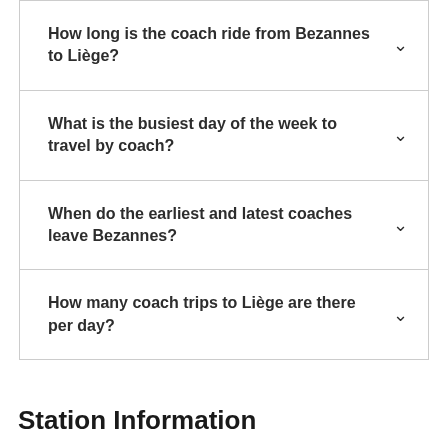How long is the coach ride from Bezannes to Liège?
What is the busiest day of the week to travel by coach?
When do the earliest and latest coaches leave Bezannes?
How many coach trips to Liège are there per day?
Station Information